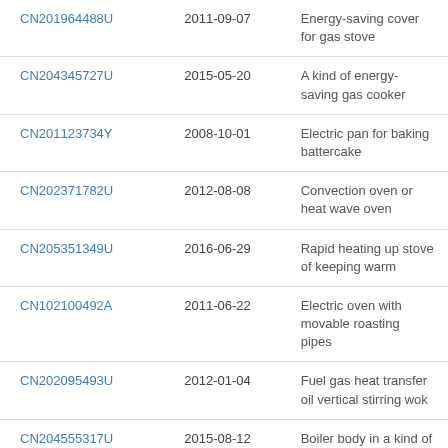| CN201964488U | 2011-09-07 | Energy-saving cover for gas stove |
| CN204345727U | 2015-05-20 | A kind of energy-saving gas cooker |
| CN201123734Y | 2008-10-01 | Electric pan for baking battercake |
| CN202371782U | 2012-08-08 | Convection oven or heat wave oven |
| CN205351349U | 2016-06-29 | Rapid heating up stove of keeping warm |
| CN102100492A | 2011-06-22 | Electric oven with movable roasting pipes |
| CN202095493U | 2012-01-04 | Fuel gas heat transfer oil vertical stirring wok |
| CN204555317U | 2015-08-12 | Boiler body in a kind of structure improved vertical boiler |
| CN107981740A | 2018-05-04 | A kind of thermal energy |